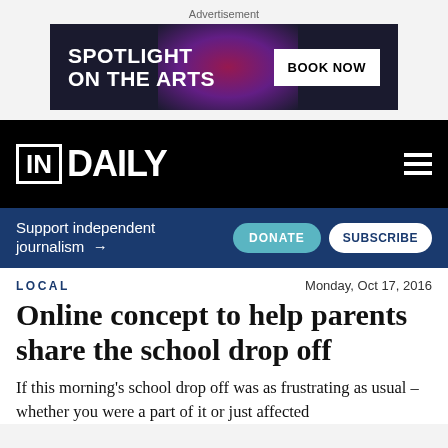Advertisement
[Figure (other): Advertisement banner for 'Spotlight on the Arts' with a 'Book Now' button on a dark background with colorful lighting effects.]
[Figure (logo): InDaily logo on black navigation bar with hamburger menu icon on the right.]
Support independent journalism → DONATE SUBSCRIBE
LOCAL    Monday, Oct 17, 2016
Online concept to help parents share the school drop off
If this morning's school drop off was as frustrating as usual – whether you were a part of it or just affected